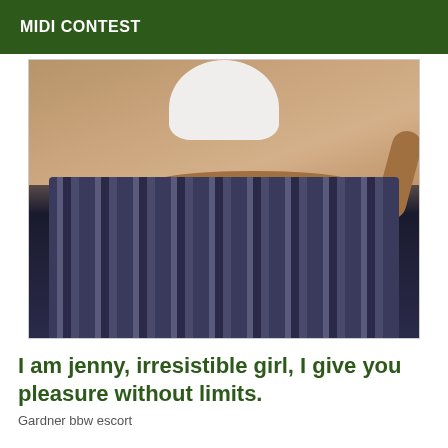MIDI CONTEST
[Figure (photo): A person from neck down wearing a white crop top and patterned dark flare pants, posing against a brown/tan background.]
I am jenny, irresistible girl, I give you pleasure without limits.
Gardner bbw escort